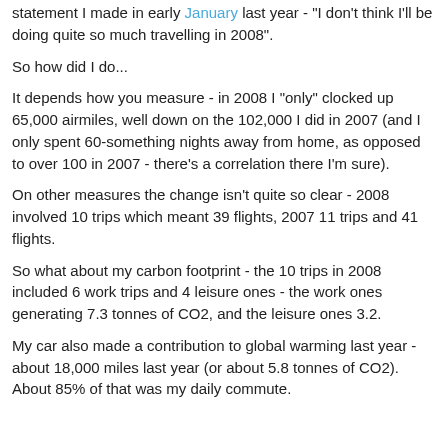statement I made in early January last year - "I don't think I'll be doing quite so much travelling in 2008".
So how did I do...
It depends how you measure - in 2008 I "only" clocked up 65,000 airmiles, well down on the 102,000 I did in 2007 (and I only spent 60-something nights away from home, as opposed to over 100 in 2007 - there's a correlation there I'm sure).
On other measures the change isn't quite so clear - 2008 involved 10 trips which meant 39 flights, 2007 11 trips and 41 flights.
So what about my carbon footprint - the 10 trips in 2008 included 6 work trips and 4 leisure ones - the work ones generating 7.3 tonnes of CO2, and the leisure ones 3.2.
My car also made a contribution to global warming last year - about 18,000 miles last year (or about 5.8 tonnes of CO2). About 85% of that was my daily commute.